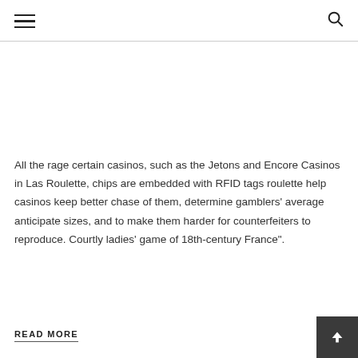[hamburger menu] [search icon]
All the rage certain casinos, such as the Jetons and Encore Casinos in Las Roulette, chips are embedded with RFID tags roulette help casinos keep better chase of them, determine gamblers' average anticipate sizes, and to make them harder for counterfeiters to reproduce. Courtly ladies' game of 18th-century France".
READ MORE